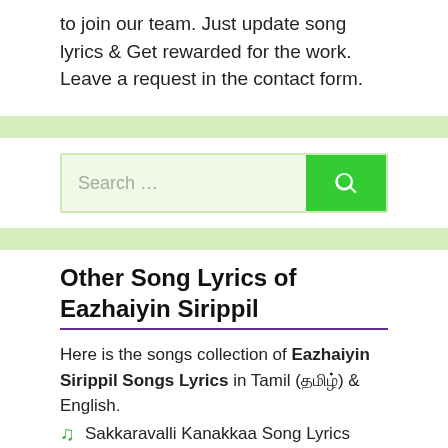to join our team. Just update song lyrics & Get rewarded for the work. Leave a request in the contact form.
Search …
Other Song Lyrics of Eazhaiyin Sirippil
Here is the songs collection of Eazhaiyin Sirippil Songs Lyrics in Tamil (தமிழ்) & English.
Sakkaravalli Kanakkaa Song Lyrics